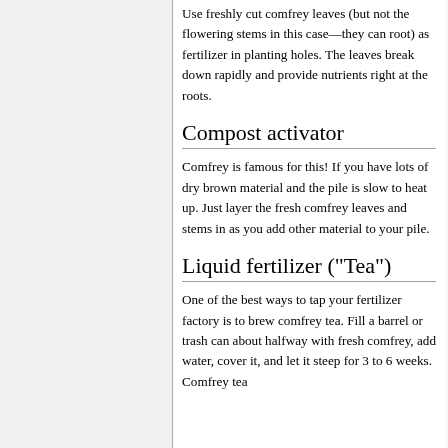Use freshly cut comfrey leaves (but not the flowering stems in this case—they can root) as fertilizer in planting holes. The leaves break down rapidly and provide nutrients right at the roots.
Compost activator
Comfrey is famous for this! If you have lots of dry brown material and the pile is slow to heat up. Just layer the fresh comfrey leaves and stems in as you add other material to your pile.
Liquid fertilizer ("Tea")
One of the best ways to tap your fertilizer factory is to brew comfrey tea. Fill a barrel or trash can about halfway with fresh comfrey, add water, cover it, and let it steep for 3 to 6 weeks. Comfrey tea